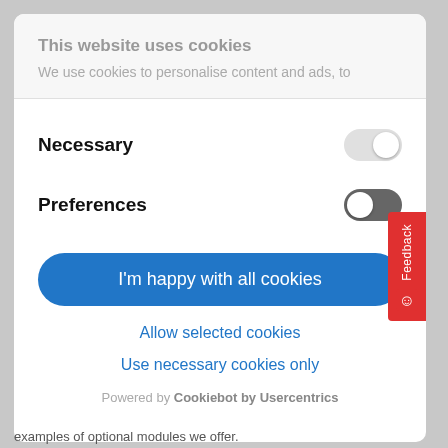This website uses cookies
We use cookies to personalise content and ads, to
Necessary
Preferences
I'm happy with all cookies
Allow selected cookies
Use necessary cookies only
Powered by Cookiebot by Usercentrics
examples of optional modules we offer.